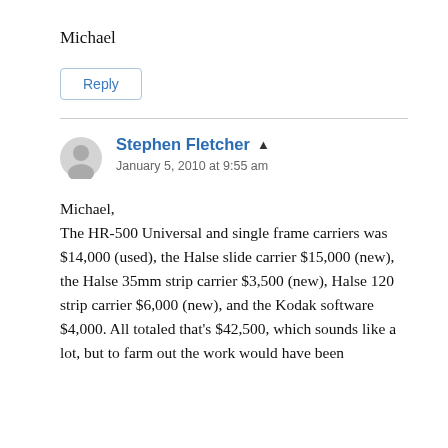Michael
Reply
Stephen Fletcher ▲
January 5, 2010 at 9:55 am
Michael,
The HR-500 Universal and single frame carriers was $14,000 (used), the Halse slide carrier $15,000 (new), the Halse 35mm strip carrier $3,500 (new), Halse 120 strip carrier $6,000 (new), and the Kodak software $4,000. All totaled that's $42,500, which sounds like a lot, but to farm out the work would have been